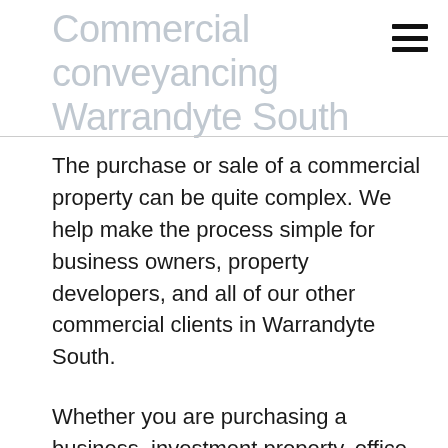Commercial conveyancing Warrandyte South
The purchase or sale of a commercial property can be quite complex. We help make the process simple for business owners, property developers, and all of our other commercial clients in Warrandyte South.
Whether you are purchasing a business, investment property, office, warehouse, industrial property, or any other commercial property in Melbourne, our team can ensure that things go smoothly and that costs are kept low. We pride ourselves on providing excellent service for every client we work with and will endeavour to give you